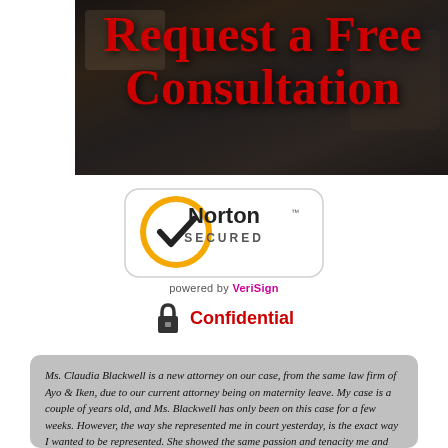[Figure (photo): Photo of people in a meeting/consultation with lawyers around a table, overlaid with red bold text reading 'Request a Free Consultation']
Request a Free Consultation
[Figure (logo): Norton Secured badge powered by VeriSign — yellow circle with black checkmark, 'Norton SECURED' text, 'powered by VeriSign' below]
powered by VeriSign
Confidential
Ms. Claudia Blackwell is a new attorney on our case, from the same law firm of Ayo & Iken, due to our current attorney being on maternity leave. My case is a couple of years old, and Ms. Blackwell has only been on this case for a few weeks. However, the way she represented me in court yesterday, is the exact way I wanted to be represented. She showed the same passion and tenacity me and my family feel towards this case. From the day we met, to the communication in the interim, and finally her representation in the